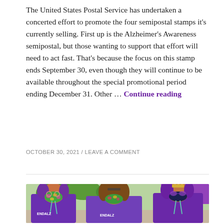The United States Postal Service has undertaken a concerted effort to promote the four semipostal stamps it's currently selling. First up is the Alzheimer's Awareness semipostal, but those wanting to support that effort will need to act fast. That's because the focus on this stamp ends September 30, even though they will continue to be available throughout the special promotional period ending December 31. Other … Continue reading
OCTOBER 30, 2021 / LEAVE A COMMENT
[Figure (photo): Three women wearing purple shirts and face masks standing together outdoors. The two on the left and right have purple hair. The center woman has brown hair and a green floral mask. The right woman wears a dark mask, purple sunglasses, and a tiara. They wear lanyards and the shirts have text including 'ENDALZ' and 'WAL'. Purple tents and green trees are visible in the background.]